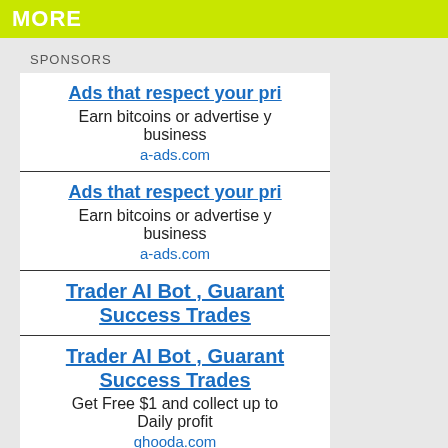MORE
SPONSORS
Ads that respect your pri
Earn bitcoins or advertise y business
a-ads.com
Ads that respect your pri
Earn bitcoins or advertise y business
a-ads.com
Trader AI Bot , Guarant Success Trades
Trader AI Bot , Guarant Success Trades
Get Free $1 and collect up to Daily profit
ghooda.com
Trader AI Bot , Guarant Success Trades
Get Free $1 and collect up to Daily profit